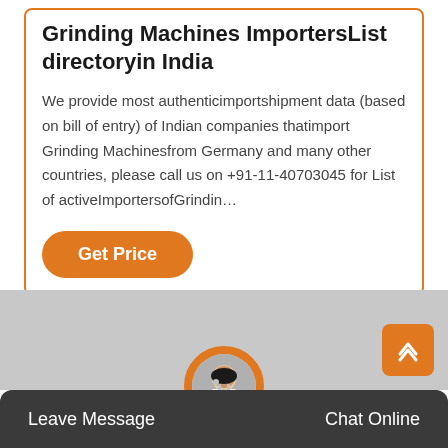Grinding Machines ImportersList directoryin India
We provide most authenticimportshipment data (based on bill of entry) of Indian companies thatimport Grinding Machinesfrom Germany and many other countries, please call us on +91-11-40703045 for List of activeImportersofGrindin…
[Figure (other): Orange rounded button with white text 'Get Price']
[Figure (other): Grey placeholder image section]
Leave Message   Chat Online